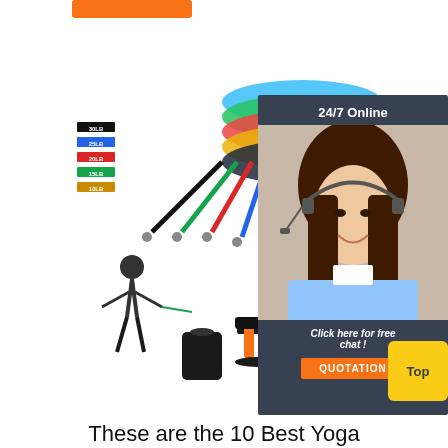[Figure (photo): Orange button/banner at top of page]
[Figure (photo): Resistance band exercise set product image showing colored bands (30LB black, 25LB blue, 20LB red, 15LB green, 10LB yellow), woman using resistance band, bag, handles, door anchor, and exercise guide]
[Figure (photo): 24/7 Online chat overlay with customer service representative photo, 'Click here for free chat!' text, and orange QUOTATION button]
[Figure (other): Yellow 'Top' button in bottom right]
These are the 10 Best Yoga